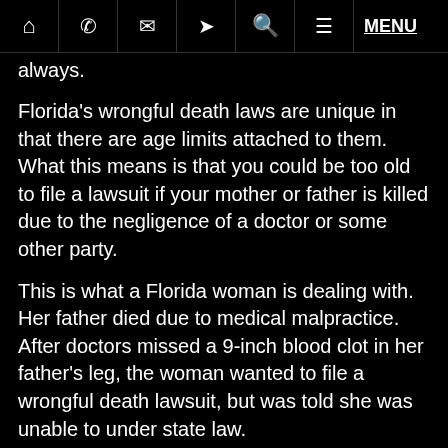[nav icons: home, phone, mail, location, search, menu] MENU
always.
Florida's wrongful death laws are unique in that there are age limits attached to them. What this means is that you could be too old to file a lawsuit if your mother or father is killed due to the negligence of a doctor or some other party.
This is what a Florida woman is dealing with. Her father died due to medical malpractice. After doctors missed a 9-inch blood clot in her father's leg, the woman wanted to file a wrongful death lawsuit, but was told she was unable to under state law.
The Florida Wrongful Death Act puts age limits in place. Under the act, surviving adult children over the age of 25 years old are not eligible to receive compensation in wrongful death claims involving their parents. Likewise,